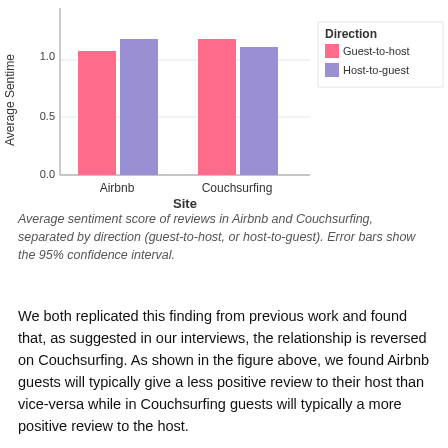[Figure (grouped-bar-chart): ]
Average sentiment score of reviews in Airbnb and Couchsurfing, separated by direction (guest-to-host, or host-to-guest). Error bars show the 95% confidence interval.
We both replicated this finding from previous work and found that, as suggested in our interviews, the relationship is reversed on Couchsurfing. As shown in the figure above, we found Airbnb guests will typically give a less positive review to their host than vice-versa while in Couchsurfing guests will typically a more positive review to the host.
As is expected, this result is significant for several reasons...